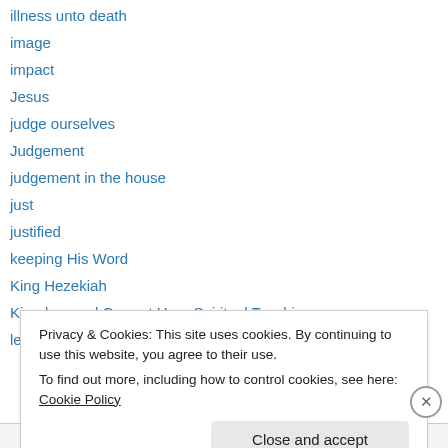illness unto death
image
impact
Jesus
judge ourselves
Judgement
judgement in the house
just
justified
keeping His Word
King Hezekiah
Kingdom and Current Hour Spiritual Teaching
lest we be judged
Privacy & Cookies: This site uses cookies. By continuing to use this website, you agree to their use. To find out more, including how to control cookies, see here: Cookie Policy
Close and accept
Advertisements